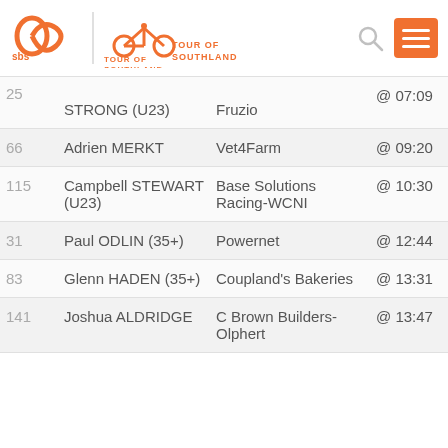[Figure (logo): SBS and Tour of Southland logo with search and menu icons in the header]
| # | Name | Team | Time | Rank | Gap |
| --- | --- | --- | --- | --- | --- |
| 25 | STRONG (U23) | Team Corsa Fruzio | @ 07:09 | 9 | 00:16 |
| 66 | Adrien MERKT | Vet4Farm | @ 09:20 | 10 |  |
| 115 | Campbell STEWART (U23) | Base Solutions Racing-WCNI | @ 10:30 | 11 | 00:16 |
| 31 | Paul ODLIN (35+) | Powernet | @ 12:44 | 12 |  |
| 83 | Glenn HADEN (35+) | Coupland's Bakeries | @ 13:31 | 13 |  |
| 141 | Joshua ALDRIDGE | C Brown Builders-Olphert | @ 13:47 | 14 |  |